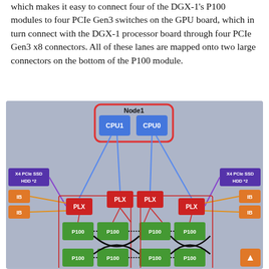which makes it easy to connect four of the DGX-1's P100 modules to four PCIe Gen3 switches on the GPU board, which in turn connect with the DGX-1 processor board through four PCIe Gen3 x8 connectors. All of these lanes are mapped onto two large connectors on the bottom of the P100 module.
[Figure (schematic): Network diagram showing Node1 with CPU1 and CPU0 at the top, connected via blue lines to four PLX switches, which connect to eight P100 GPU modules (arranged in two rows of four). Left side shows X4 PCIe SSD HDD *2 (purple) and two IB (orange) connectors; right side mirrors this. PLX switches interconnect with P100 modules via red and black lines. An orange scroll-up button is at bottom right.]